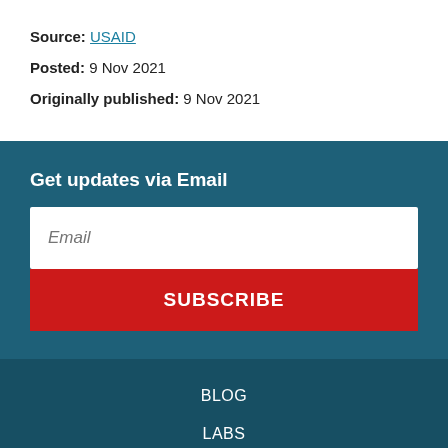Source: USAID
Posted: 9 Nov 2021
Originally published: 9 Nov 2021
Get updates via Email
Email
SUBSCRIBE
BLOG
LABS
ABOUT US